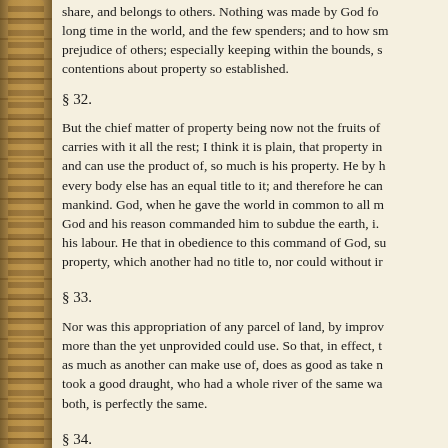share, and belongs to others. Nothing was made by God for long time in the world, and the few spenders; and to how sm prejudice of others; especially keeping within the bounds, s contentions about property so established.
§ 32.
But the chief matter of property being now not the fruits of carries with it all the rest; I think it is plain, that property in and can use the product of, so much is his property. He by h every body else has an equal title to it; and therefore he can mankind. God, when he gave the world in common to all m God and his reason commanded him to subdue the earth, i. his labour. He that in obedience to this command of God, su property, which another had no title to, nor could without ir
§ 33.
Nor was this appropriation of any parcel of land, by improv more than the yet unprovided could use. So that, in effect, t as much as another can make use of, does as good as take n took a good draught, who had a whole river of the same wa both, is perfectly the same.
§ 34.
God gave the world to men in common; but since he gave i from it, it cannot be supposed he meant it should always re